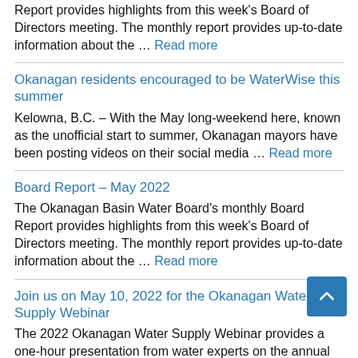Report provides highlights from this week's Board of Directors meeting. The monthly report provides up-to-date information about the … Read more
Okanagan residents encouraged to be WaterWise this summer
Kelowna, B.C. – With the May long-weekend here, known as the unofficial start to summer, Okanagan mayors have been posting videos on their social media … Read more
Board Report – May 2022
The Okanagan Basin Water Board's monthly Board Report provides highlights from this week's Board of Directors meeting. The monthly report provides up-to-date information about the … Read more
Join us on May 10, 2022 for the Okanagan Water Supply Webinar
The 2022 Okanagan Water Supply Webinar provides a one-hour presentation from water experts on the annual outlook for flood and drought. Several water supply indicators … Read more
Weather Report – April 2022
The Mission Creek and Silver Star snow pillows appear